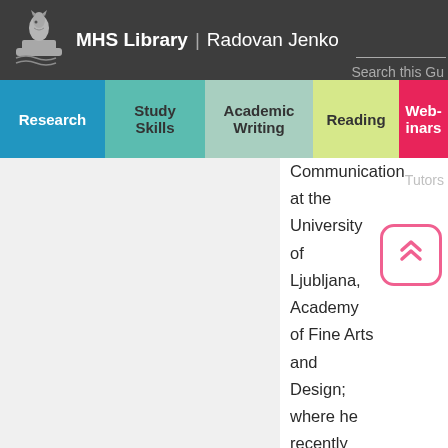MHS Library | Radovan Jenko   Search this Gu
Research
Study Skills
Academic Writing
Reading
Webinars
Communication at the University of Ljubljana, Academy of Fine Arts and Design; where he recently worked as professor for Visual Communication